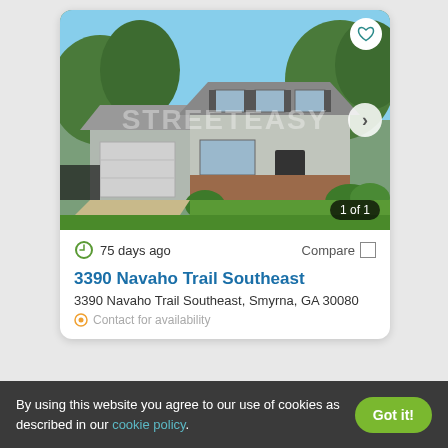[Figure (photo): Exterior photo of a two-story house with gray siding, brick accents, attached garage, and green lawn. Watermark 'STREETEASY' overlaid. Navigation arrow and heart button visible. Counter shows '1 of 1'.]
75 days ago
Compare
3390 Navaho Trail Southeast
3390 Navaho Trail Southeast, Smyrna, GA 30080
Contact for availability
By using this website you agree to our use of cookies as described in our cookie policy.
Got it!